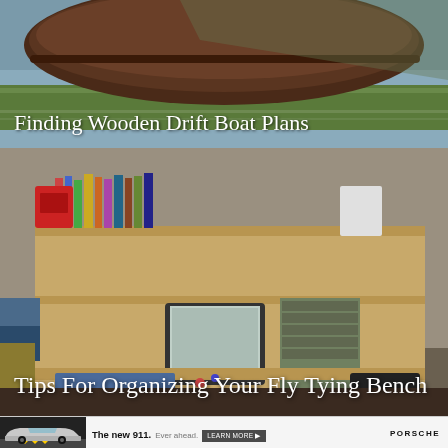[Figure (photo): Photo of a wooden drift boat on water/grass, used as thumbnail image for article]
Finding Wooden Drift Boat Plans
[Figure (photo): Photo of a cluttered fly tying bench with shelves of books, old TV monitor, organizer drawers, tools and materials scattered on desk]
Tips For Organizing Your Fly Tying Bench
[Figure (photo): Porsche 911 advertisement showing car on road with text 'The new 911. Ever ahead.' and LEARN MORE button with Porsche logo]